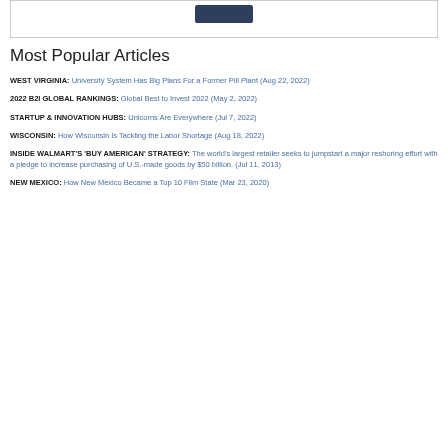[Figure (other): Top box with a dark navy button/bar centered at top]
Most Popular Articles
WEST VIRGINIA: University System Has Big Plans For a Former Pill Plant (Aug 22, 2022)
2022 B2I GLOBAL RANKINGS: Global Best to Invest 2022 (May 2, 2022)
STARTUP & INNOVATION HUBS: Unicorns Are Everywhere (Jul 7, 2022)
WISCONSIN: How Wisconsin Is Tackling the Labor Shortage (Aug 18, 2022)
INSIDE WALMART'S 'BUY AMERICAN' STRATEGY: The world's largest retailer seeks to jumpstart a major reshoring effort with a pledge to increase purchasing of U.S.-made goods by $50 billion. (Jul 11, 2013)
NEW MEXICO: How New Mexico Became a Top 10 Film State (Mar 23, 2020)